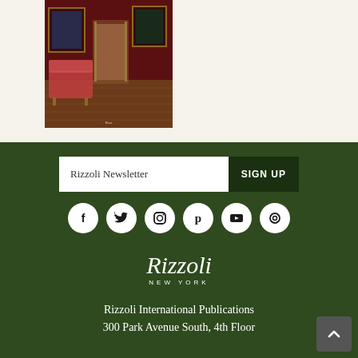[Figure (photo): Book cover showing an elegant red-walled room with antique furniture, paintings, and a hallway]
Rizzoli Newsletter
SIGN UP
[Figure (illustration): Social media icons: Facebook, Twitter, Instagram, Pinterest, YouTube, and a circular icon]
[Figure (logo): Rizzoli New York logo in white script]
Rizzoli International Publications
300 Park Avenue South, 4th Floor